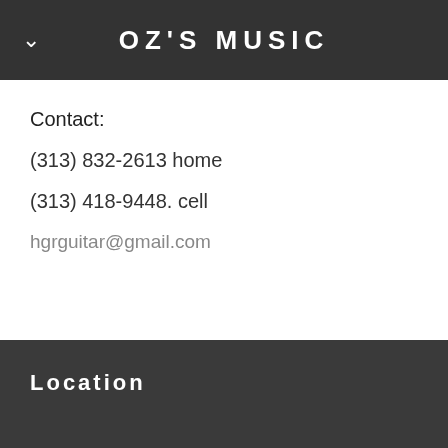OZ'S MUSIC
Contact:
(313) 832-2613 home
(313) 418-9448. cell
hgrguitar@gmail.com
Location